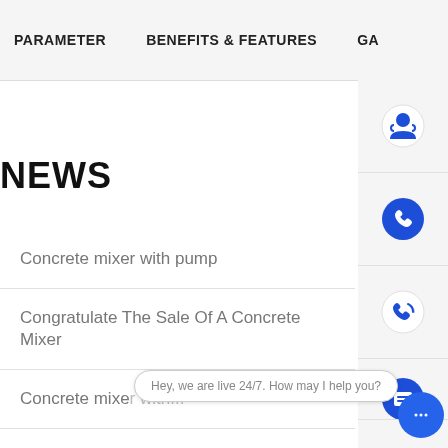PARAMETER   BENEFITS & FEATURES   GA
NEWS
Concrete mixer with pump
Congratulate The Sale Of A Concrete Mixer
Concrete mixe...
Hey, we are live 24/7. How may I help you?